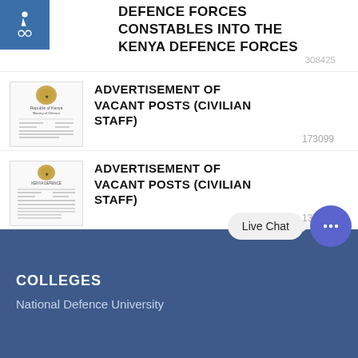DEFENCE FORCES CONSTABLES INTO THE KENYA DEFENCE FORCES
308425
[Figure (screenshot): Thumbnail of a government document with Republic of Kenya coat of arms and text.]
ADVERTISEMENT OF VACANT POSTS (CIVILIAN STAFF)
173099
[Figure (screenshot): Thumbnail of a government document with Republic of Kenya coat of arms and text.]
ADVERTISEMENT OF VACANT POSTS (CIVILIAN STAFF)
137970
COLLEGES
National Defence University